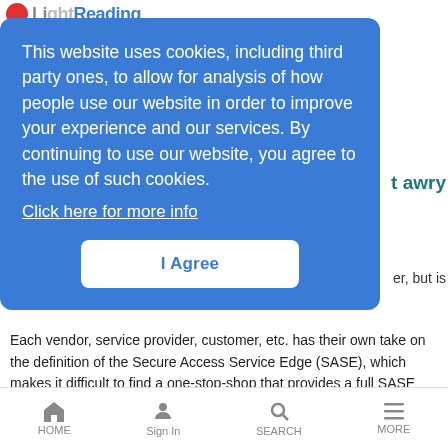LightReading
This website uses cookies, including third party ones, to allow for analysis of how people use our website in order to improve your experience and our services. By continuing to use our website, you agree to the use of such cookies. Click here for more info
I Agree
t awry
er, but is
Each vendor, service provider, customer, etc. has their own take on the definition of the Secure Access Service Edge (SASE), which makes it difficult to find a one-stop-shop that provides a full SASE suite, explains Verizon's Vincent Lee.
CommScope gears up for XGS-PON
News Analysis | 12/14/2021
HOME  Sign In  SEARCH  MORE